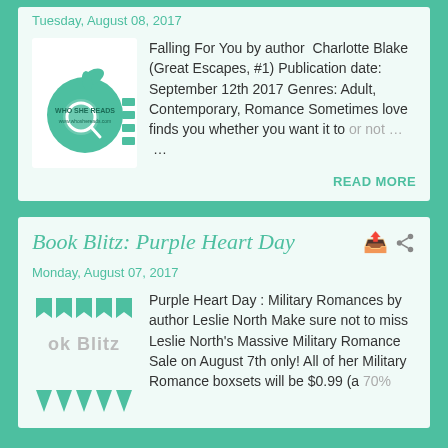Tuesday, August 08, 2017
[Figure (logo): Who She Reads apple logo with magnifying glass]
Falling For You by author  Charlotte Blake (Great Escapes, #1) Publication date: September 12th 2017 Genres: Adult, Contemporary, Romance Sometimes love finds you whether you want it to or not … …
READ MORE
Book Blitz: Purple Heart Day
Monday, August 07, 2017
[Figure (logo): Book Blitz banner logo with teal pennant flags and gray text 'ok Blitz']
Purple Heart Day : Military Romances by author Leslie North Make sure not to miss Leslie North's Massive Military Romance Sale on August 7th only! All of her Military Romance boxsets will be $0.99 (a 70%...